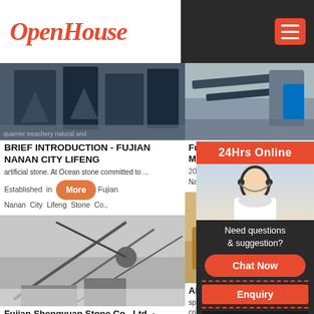OpenHouse
[Figure (screenshot): Screenshot of a stone machinery/equipment website with two-column article layout, logo 'OpenHouse' in red italic, hamburger menu button, article cards with industrial images, chat support overlay panel]
BRIEF INTRODUCTION - FUJIAN NANAN CITY LIFENG
artificial stone. At Ocean stone committed to ...
Established in 1999 Fujian Nanan City Lifeng Stone Co.,
FuJian Quanzhou Nanxing M... Stone Supp...
2021-10-30
Nanxing Ma...
[Figure (photo): Industrial mining or stone quarry machinery, conveyor belts and excavation equipment in snowy landscape]
Fujian Shengyuan Stone Co., Ltd. - Global Manufacturers
in Shuntou, China known as 'Stone town' with an area of
[Figure (photo): Industrial stone processing machinery or quarry equipment]
About – H C...
special pro... composite t...
24Hrs Online
Need questions & suggestion?
Chat Now
Enquiry
mumumugoods